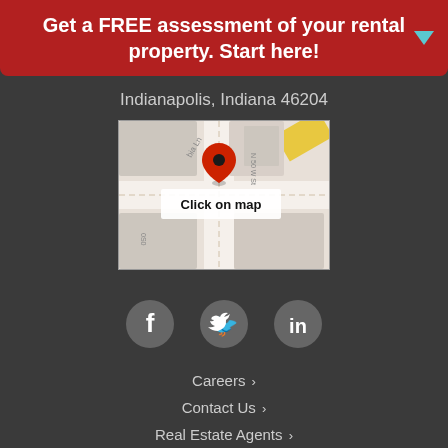Get a FREE assessment of your rental property. Start here!
Indianapolis, Indiana 46204
[Figure (map): Google Maps static map showing location pin in Indianapolis, Indiana with 'Click on map' overlay label]
[Figure (infographic): Social media icons: Facebook, Twitter, LinkedIn]
Careers ›
Contact Us ›
Real Estate Agents ›
Real Property Management National Headquarters ›
EHO Statement ›
Privacy Policy ›